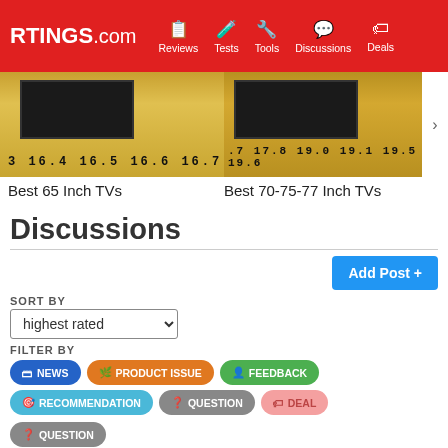RTINGS.com | Reviews | Tests | Tools | Discussions | Deals
[Figure (photo): Photo of a TV with a ruler measuring its width, showing measurements around 16.4-16.7 inches]
[Figure (photo): Photo of a TV with a ruler measuring its width, showing measurements around 17.8-19.6 inches]
Best 65 Inch TVs
Best 70-75-77 Inch TVs
Discussions
Add Post +
SORT BY
highest rated
FILTER BY
NEWS
PRODUCT ISSUE
FEEDBACK
RECOMMENDATION
QUESTION
DEAL
QUESTION